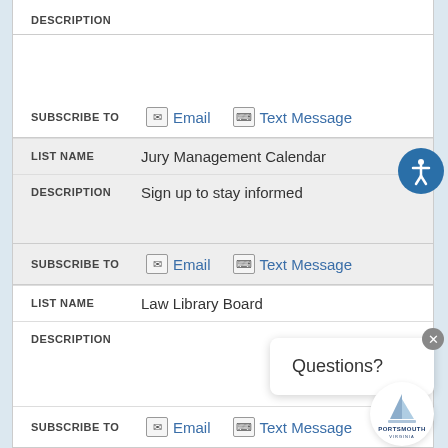DESCRIPTION
SUBSCRIBE TO  Email  Text Message
| LIST NAME | DESCRIPTION | SUBSCRIBE TO |
| --- | --- | --- |
| Jury Management Calendar | Sign up to stay informed | Email  Text Message |
| Law Library Board |  | Email  Text Message |
Questions?